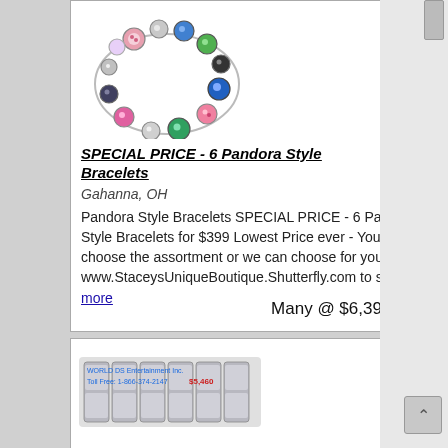[Figure (photo): Colorful Pandora style charm bracelet with multicolored beads including pink, green, blue, black, silver charms]
SPECIAL PRICE - 6 Pandora Style Bracelets
Gahanna, OH
Pandora Style Bracelets SPECIAL PRICE - 6 Pandora Style Bracelets for $399 Lowest Price ever - You choose the assortment or we can choose for you. www.StaceysUniqueBoutique.Shutterfly.com to see ... more
Many @ $6,399.00
[Figure (photo): Stainless steel chain link bracelet with watermark text overlay showing store name and toll free number and price $5,460]